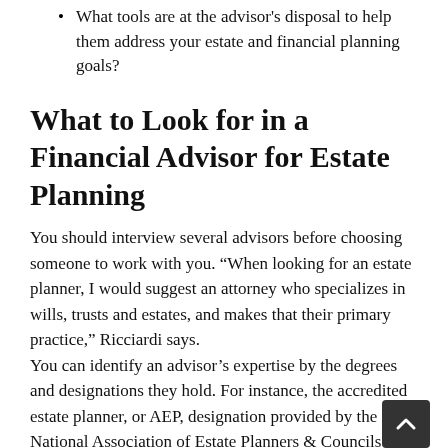What tools are at the advisor's disposal to help them address your estate and financial planning goals?
What to Look for in a Financial Advisor for Estate Planning
You should interview several advisors before choosing someone to work with you. “When looking for an estate planner, I would suggest an attorney who specializes in wills, trusts and estates, and makes that their primary practice,” Ricciardi says.
You can identify an advisor’s expertise by the degrees and designations they hold. For instance, the accredited estate planner, or AEP, designation provided by the National Association of Estate Planners & Councils (NAEPC) is a graduate-level degree for professionals who specialize in estate planning. Other estate planning designations include the chartered trust and estate planner (CTEP) and certified trust and fiduciary advisor (CTFA).
Look at what organizations the advisor is affiliated with